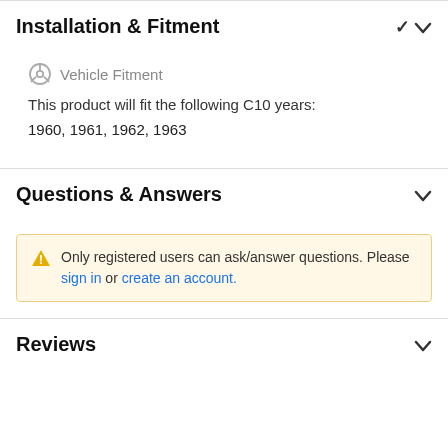Installation & Fitment
Vehicle Fitment
This product will fit the following C10 years:
1960, 1961, 1962, 1963
Questions & Answers
Only registered users can ask/answer questions. Please sign in or create an account.
Reviews